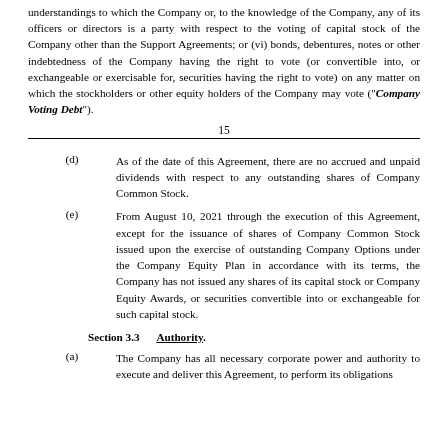understandings to which the Company or, to the knowledge of the Company, any of its officers or directors is a party with respect to the voting of capital stock of the Company other than the Support Agreements; or (vi) bonds, debentures, notes or other indebtedness of the Company having the right to vote (or convertible into, or exchangeable or exercisable for, securities having the right to vote) on any matter on which the stockholders or other equity holders of the Company may vote (“Company Voting Debt”).
15
(d)    As of the date of this Agreement, there are no accrued and unpaid dividends with respect to any outstanding shares of Company Common Stock.
(e)    From August 10, 2021 through the execution of this Agreement, except for the issuance of shares of Company Common Stock issued upon the exercise of outstanding Company Options under the Company Equity Plan in accordance with its terms, the Company has not issued any shares of its capital stock or Company Equity Awards, or securities convertible into or exchangeable for such capital stock.
Section 3.3    Authority.
(a)    The Company has all necessary corporate power and authority to execute and deliver this Agreement, to perform its obligations